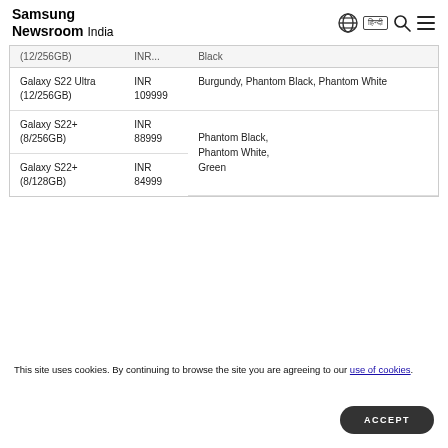Samsung Newsroom India
| Model | Price | Colors |
| --- | --- | --- |
| (12/256GB) | INR... | Black |
| Galaxy S22 Ultra (12/256GB) | INR 109999 | Burgundy, Phantom Black, Phantom White |
| Galaxy S22+ (8/256GB) | INR 88999 | Phantom Black, Phantom White, Green |
| Galaxy S22+ (8/128GB) | INR 84999 | Phantom Black, Phantom White, Green |
This site uses cookies. By continuing to browse the site you are agreeing to our use of cookies.
ACCEPT